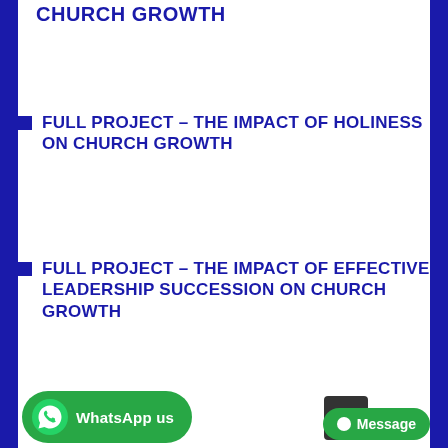CHURCH GROWTH
FULL PROJECT – THE IMPACT OF HOLINESS ON CHURCH GROWTH
FULL PROJECT – THE IMPACT OF EFFECTIVE LEADERSHIP SUCCESSION ON CHURCH GROWTH
FULL PROJECT – THE IMPACT OF EFFE...